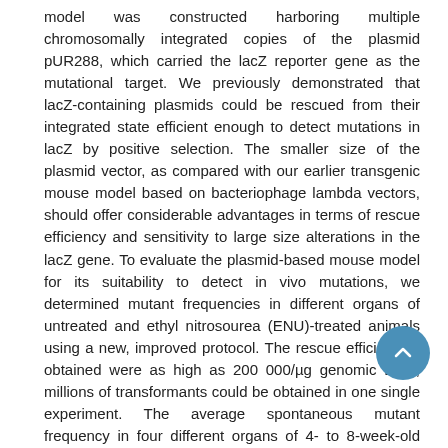model was constructed harboring multiple chromosomally integrated copies of the plasmid pUR288, which carried the lacZ reporter gene as the mutational target. We previously demonstrated that lacZ-containing plasmids could be rescued from their integrated state efficient enough to detect mutations in lacZ by positive selection. The smaller size of the plasmid vector, as compared with our earlier transgenic mouse model based on bacteriophage lambda vectors, should offer considerable advantages in terms of rescue efficiency and sensitivity to large size alterations in the lacZ gene. To evaluate the plasmid-based mouse model for its suitability to detect in vivo mutations, we determined mutant frequencies in different organs of untreated and ethyl nitrosourea (ENU)-treated animals using a new, improved protocol. The rescue efficiencies obtained were as high as 200 000/µg genomic DNA; millions of transformants could be obtained in one single experiment. The average spontaneous mutant frequency in four different organs of 4- to 8-week-old mice ranged from 4.41 to 6.82 x 10⁻⁵, compared with a mutant frequency of the same plasmid grown in Escherichia coli of ~ 1 x 10⁻⁵ or less. Single treatments with 100 and 250 mg ENU/kg body wt resulted in a 7- and 14-fold increase, respectively, in spleen mutant frequency at 14 days after intraperitoneal administration of the alkylating agent. Restriction